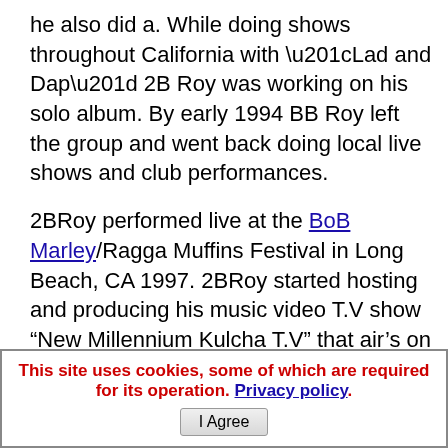he also did a. While doing shows throughout California with “Lad and Dap” 2B Roy was working on his solo album. By early 1994 BB Roy left the group and went back doing local live shows and club performances.
2BRoy performed live at the BoB Marley/Ragga Muffins Festival in Long Beach, CA 1997. 2BRoy started hosting and producing his music video T.V show “New Millennium Kulcha T.V” that air’s on Time Warner Cable Public Access channel in Los Angeles; CA.
This site uses cookies, some of which are required for its operation. Privacy policy. I Agree